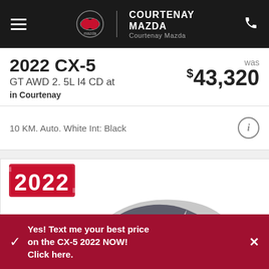COURTENAY MAZDA — Courtenay Mazda
2022 CX-5
GT AWD 2. 5L I4 CD at
in Courtenay
was $43,320
10 KM. Auto. White Int: Black
[Figure (photo): 2022 Mazda CX-5 in silver/white color, side profile view, with a red stamped '2022' badge overlay in the upper left and a 'VALUE YOUR TRADE!' button overlay]
Yes! Text me your best price on the CX-5 2022 NOW! Click here.